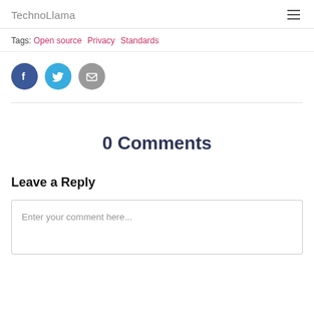TechnoLlama
Tags: Open source  Privacy  Standards
[Figure (illustration): Three social share icon circles: Facebook (dark blue with f), Twitter (light blue with bird), Email (grey with envelope)]
0 Comments
Leave a Reply
Enter your comment here...